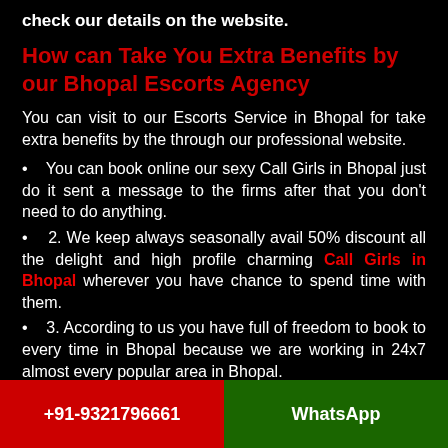check our details on the website.
How can Take You Extra Benefits by our Bhopal Escorts Agency
You can visit to our Escorts Service in Bhopal for take extra benefits by the through our professional website.
You can book online our sexy Call Girls in Bhopal just do it sent a message to the firms after that you don't need to do anything.
2. We keep always seasonally avail 50% discount all the delight and high profile charming Call Girls in Bhopal wherever you have chance to spend time with them.
3. According to us you have full of freedom to book to every time in Bhopal because we are working in 24x7 almost every popular area in Bhopal.
+91-9321796661   WhatsApp